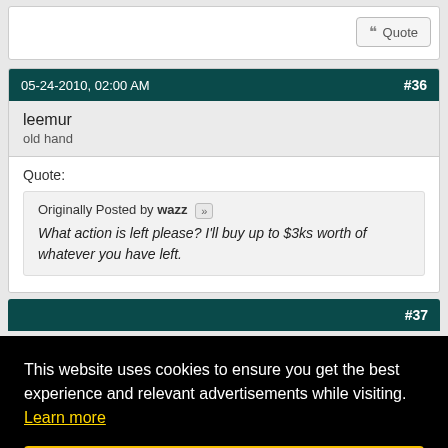[Figure (screenshot): Top area of a forum post with a Quote button visible in top-right corner]
05-24-2010, 02:00 AM #36
leemur
old hand
Quote:
Originally Posted by wazz
What action is left please? I'll buy up to $3ks worth of whatever you have left.
#37
This website uses cookies to ensure you get the best experience and relevant advertisements while visiting. Learn more
Got it!